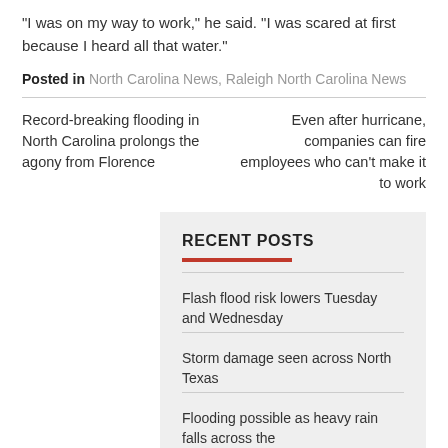“I was on my way to work,” he said. “I was scared at first because I heard all that water.”
Posted in North Carolina News, Raleigh North Carolina News
Record-breaking flooding in North Carolina prolongs the agony from Florence
Even after hurricane, companies can fire employees who can't make it to work
RECENT POSTS
Flash flood risk lowers Tuesday and Wednesday
Storm damage seen across North Texas
Flooding possible as heavy rain falls across the